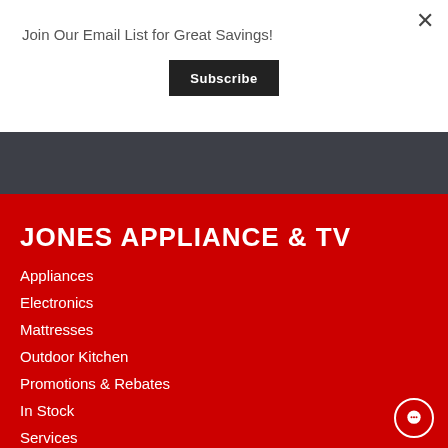Join Our Email List for Great Savings!
Subscribe
JONES APPLIANCE & TV
Appliances
Electronics
Mattresses
Outdoor Kitchen
Promotions & Rebates
In Stock
Services